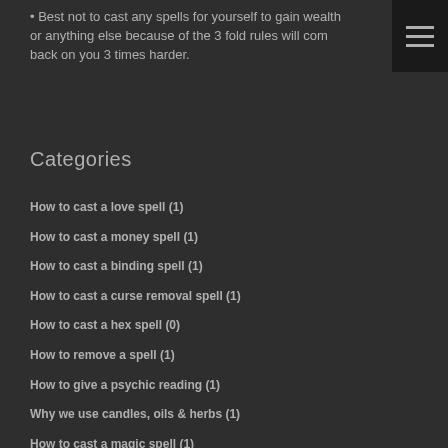• Best not to cast any spells for yourself to gain wealth or anything else because of the 3 fold rules will com back on you 3 times harder.
[Figure (other): Hamburger menu icon — three horizontal white lines on a dark background, top right corner]
Categories
How to cast a love spell (1)
How to cast a money spell (1)
How to cast a binding spell (1)
How to cast a curse removal spell (1)
How to cast a hex spell (0)
How to remove a spell (1)
How to give a psychic reading (1)
Why we use candles, oils & herbs (1)
How to cast a magic spell (1)
What is voodoo (1)
How to cast a potion spell (1)